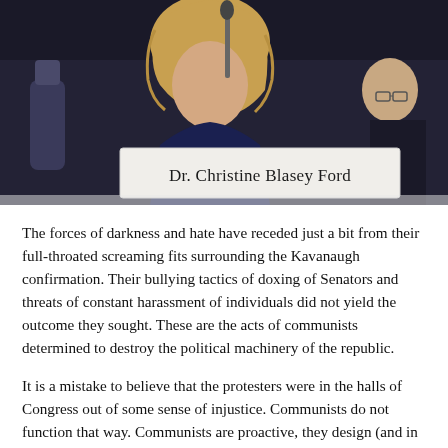[Figure (photo): Photo of Dr. Christine Blasey Ford at a hearing, seated behind a name placard reading 'Dr. Christine Blasey Ford', with a microphone visible. She has blond hair and is wearing dark clothing. Another figure is partially visible at the right.]
The forces of darkness and hate have receded just a bit from their full-throated screaming fits surrounding the Kavanaugh confirmation. Their bullying tactics of doxing of Senators and threats of constant harassment of individuals did not yield the outcome they sought. These are the acts of communists determined to destroy the political machinery of the republic.
It is a mistake to believe that the protesters were in the halls of Congress out of some sense of injustice. Communists do not function that way. Communists are proactive, they design (and in many cases, including this one, PAY for) the protest before they have a cause, because it is not an action that communists protest, it is the very functioning of the republic. Their goal is to have ONLY their side heard in any debate and to drive their enemies out of the public square.
The Kavanaugh confirmation merely illuminated their tactics, it was not the cause of it. Anyone who would have been nominated for that supreme court seat would have been met with some variable of the